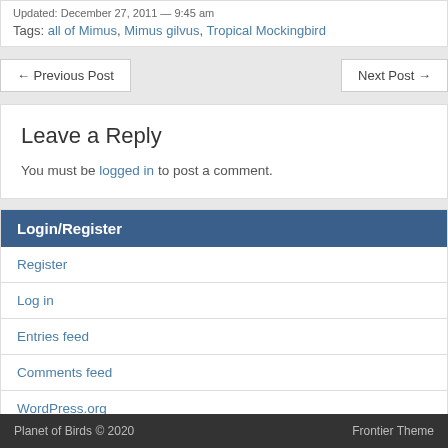Updated: December 27, 2011 — 9:45 am
Tags: all of Mimus, Mimus gilvus, Tropical Mockingbird
← Previous Post
Next Post →
Leave a Reply
You must be logged in to post a comment.
Login/Register
Register
Log in
Entries feed
Comments feed
WordPress.org
Planet of Birds © 2020   Frontier Theme